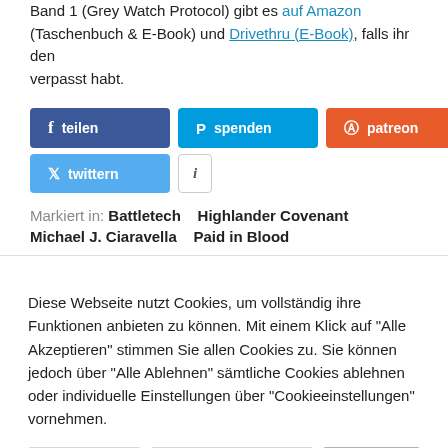Band 1 (Grey Watch Protocol) gibt es auf Amazon (Taschenbuch & E-Book) und Drivethru (E-Book), falls ihr den verpasst habt.
[Figure (screenshot): Social sharing buttons: teilen (Facebook, blue), spenden (PayPal, light blue), patreon (orange-red), twittern (Twitter, blue), info button (i, white/grey border)]
Markiert in: Battletech   Highlander Covenant   Michael J. Ciaravella   Paid in Blood
Diese Webseite nutzt Cookies, um vollständig ihre Funktionen anbieten zu können. Mit einem Klick auf "Alle Akzeptieren" stimmen Sie allen Cookies zu. Sie können jedoch über "Alle Ablehnen" sämtliche Cookies ablehnen oder individuelle Einstellungen über "Cookieeinstellungen" vornehmen.
Alle Ablehnen | Cookieeinstellungen | Accept All